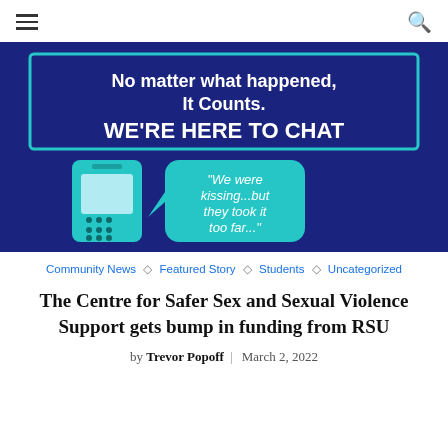≡ [menu] | [search]
[Figure (photo): A navy blue poster with teal border and teal graphic elements. Top text reads: 'No matter what happened, It Counts. WE'RE HERE TO CHAT'. Below is an illustration of a teal mobile phone and a teal speech bubble with text: "We were kissing...but they took it too far..."]
Community News ◇ Featured Story ◇ Students ◇ Uncategorized
The Centre for Safer Sex and Sexual Violence Support gets bump in funding from RSU
by Trevor Popoff | March 2, 2022